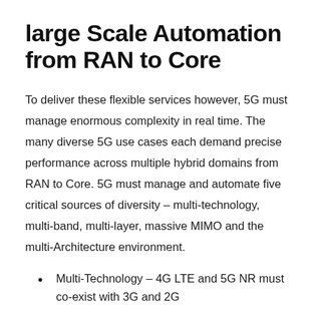large Scale Automation from RAN to Core
To deliver these flexible services however, 5G must manage enormous complexity in real time. The many diverse 5G use cases each demand precise performance across multiple hybrid domains from RAN to Core. 5G must manage and automate five critical sources of diversity – multi-technology, multi-band, multi-layer, massive MIMO and the multi-Architecture environment.
Multi-Technology – 4G LTE and 5G NR must co-exist with 3G and 2G
Multi-Band -5G will operate in multiple frequency